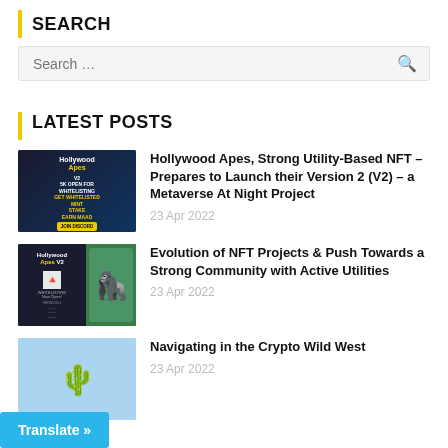SEARCH
Search ...
LATEST POSTS
Hollywood Apes, Strong Utility-Based NFT – Prepares to Launch their Version 2 (V2) – a Metaverse At Night Project
23 Apr 2022
Evolution of NFT Projects & Push Towards a Strong Community with Active Utilities
23 Apr 2022
Navigating in the Crypto Wild West
23 Apr 2022
Translate »